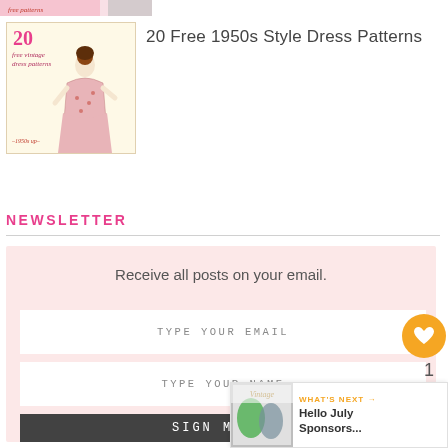[Figure (illustration): Top partial image strip of a vintage 1950s bonnet/sewing pattern thumbnail, cropped at top of page]
[Figure (illustration): Thumbnail image for '20 Free 1950s Style Dress Patterns' showing a vintage illustration of a woman in a 1950s dress with text '20 free vintage dress patterns -1950s up-' on a cream background]
20 Free 1950s Style Dress Patterns
NEWSLETTER
Receive all posts on your email.
TYPE YOUR EMAIL
TYPE YOUR NAME
SIGN ME UP
[Figure (illustration): What's Next promotional widget showing a Vintage blog thumbnail with text 'WHAT'S NEXT → Hello July Sponsors...']